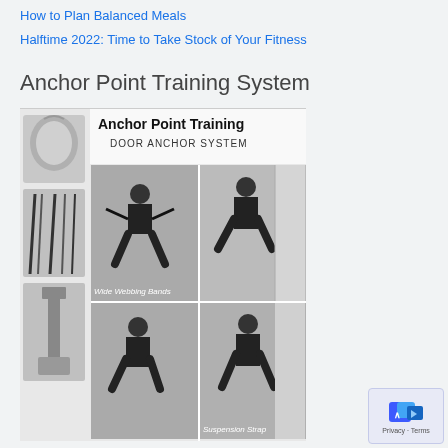How to Plan Balanced Meals
Halftime 2022: Time to Take Stock of Your Fitness
Anchor Point Training System
[Figure (photo): Product advertisement image for Anchor Point Training Door Anchor System showing wide webbing bands and suspension strap with a person demonstrating exercises]
Privacy · Terms